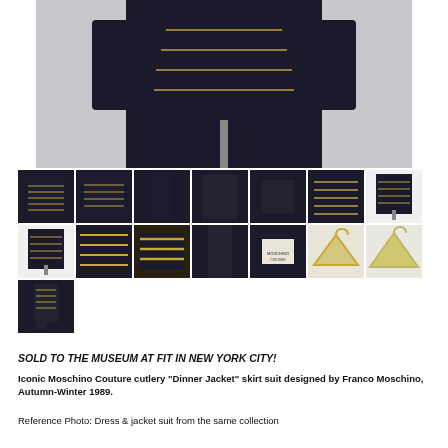[Figure (photo): Main product photo showing a black Moschino Couture jacket on a mannequin/stand, close-up of dark fabric]
[Figure (photo): Grid of 15 thumbnail photos showing various angles and details of the Moschino Couture cutlery Dinner Jacket skirt suit, including full outfit shots, detail shots of gold cutlery embellishments, labels, and hangers]
SOLD TO THE MUSEUM AT FIT IN NEW YORK CITY!
Iconic Moschino Couture cutlery "Dinner Jacket" skirt suit designed by Franco Moschino, Autumn-Winter 1989.
Reference Photo: Dress & jacket suit from the same collection